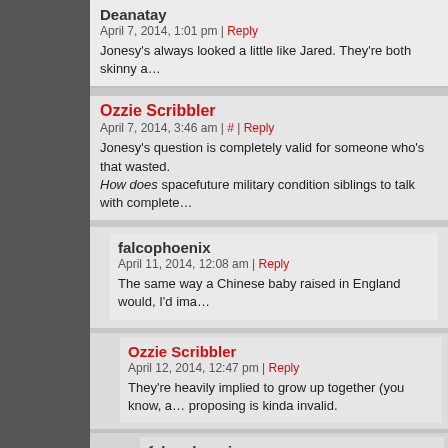Deanatay
April 7, 2014, 1:01 pm | Reply
Jonesy's always looked a little like Jared. They're both skinny a…
Ozzie Scribbler
April 7, 2014, 3:46 am | # | Reply
Jonesy's question is completely valid for someone who's that wasted. How does spacefuture military condition siblings to talk with complete…
falcophoenix
April 11, 2014, 12:08 am | Reply
The same way a Chinese baby raised in England would, I'd ima…
Ozzie Scribbler
April 12, 2014, 12:47 pm | Reply
They're heavily implied to grow up together (you know, a… proposing is kinda invalid.
falcophoenix
April 12, 2014, 1:28 pm | Reply
Wouldn't say I was arguing, but yeah I overlooked… point I thought up– it's the spacefuture where they roles, like diverse characters in a merchandised se… brother mentioned had something to do with that i…